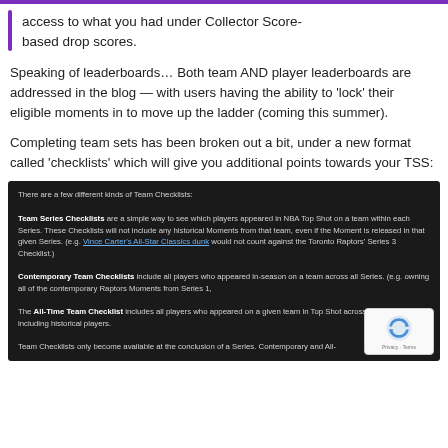access to what you had under Collector Score-based drop scores.
Speaking of leaderboards… Both team AND player leaderboards are addressed in the blog — with users having the ability to 'lock' their eligible moments in to move up the ladder (coming this summer).
Completing team sets has been broken out a bit, under a new format called 'checklists' which will give you additional points towards your TSS:
[Figure (screenshot): Dark-background screenshot showing NBA Top Shot Team Checklists explanation. Describes Team Series Checklists, Contemporary Team Checklists, All-Time Team Checklist, and a note about when Team Checklists become available. Includes a reCAPTCHA badge.]